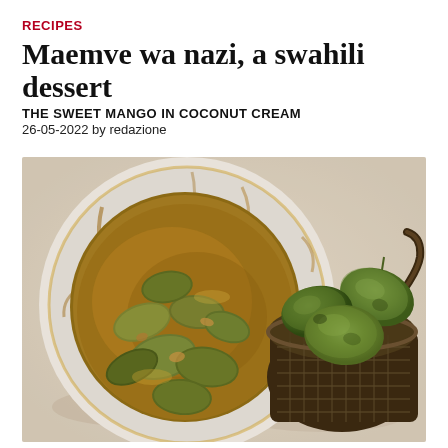RECIPES
Maemve wa nazi, a swahili dessert
THE SWEET MANGO IN COCONUT CREAM
26-05-2022 by redazione
[Figure (photo): Overhead photo of a white pot containing mango pieces cooked in golden-brown coconut cream sauce, next to a dark wicker basket holding three green mangoes on a light surface.]